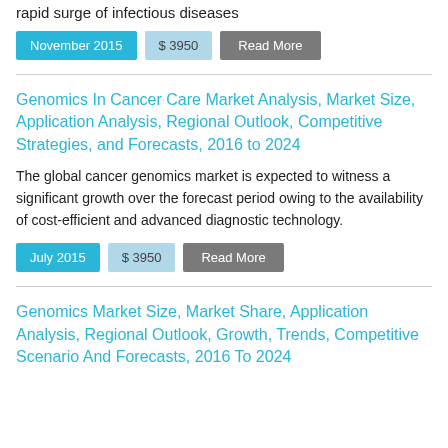rapid surge of infectious diseases
November 2015 | $ 3950 | Read More
Genomics In Cancer Care Market Analysis, Market Size, Application Analysis, Regional Outlook, Competitive Strategies, and Forecasts, 2016 to 2024
The global cancer genomics market is expected to witness a significant growth over the forecast period owing to the availability of cost-efficient and advanced diagnostic technology.
July 2015 | $ 3950 | Read More
Genomics Market Size, Market Share, Application Analysis, Regional Outlook, Growth, Trends, Competitive Scenario And Forecasts, 2016 To 2024